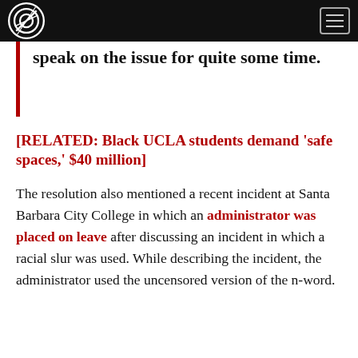[Campus Reform logo and navigation]
speak on the issue for quite some time.
[RELATED: Black UCLA students demand 'safe spaces,' $40 million]
The resolution also mentioned a recent incident at Santa Barbara City College in which an administrator was placed on leave after discussing an incident in which a racial slur was used. While describing the incident, the administrator used the uncensored version of the n-word.